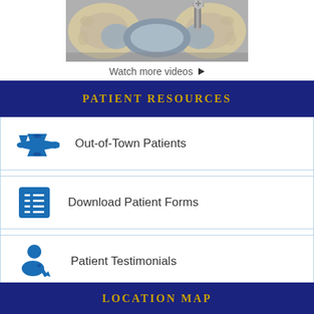[Figure (photo): Medical illustration of hip joint with metal implant/prosthesis, showing pelvis bones in beige/ivory with grey disc implant and metal screw hardware visible from below]
Watch more videos ▶
PATIENT RESOURCES
Out-of-Town Patients
Download Patient Forms
Patient Testimonials
LOCATION MAP